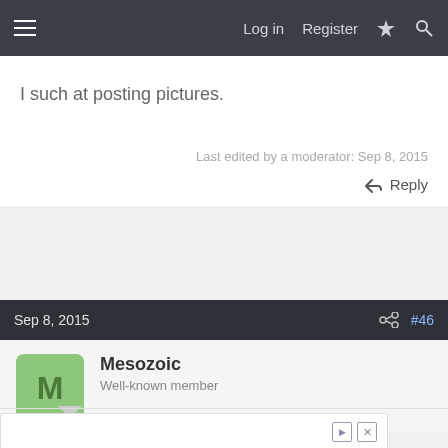Log in  Register
I such at posting pictures.
Last edited by a moderator: Sep 8, 2015
↩ Reply
Sep 8, 2015  #46
Mesozoic
Well-known member
[Figure (other): Advertisement banner for Clean Air-Intake & Fuel System by berrymanproducts.com with an OPEN button]